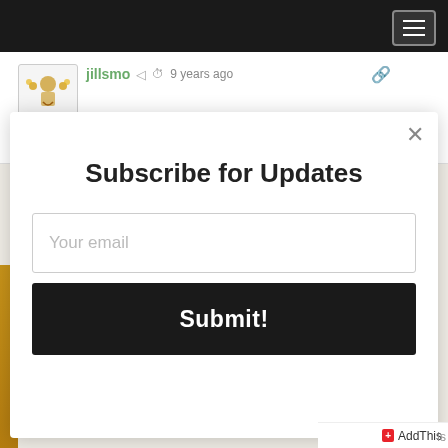[Figure (screenshot): Top navigation bar with dark background and hamburger menu icon (three horizontal lines) in a bordered box on the right side.]
jillsmo  9 years ago
Oh my heart 🙁
Subscribe for Updates
Your email
Submit!
AddThis